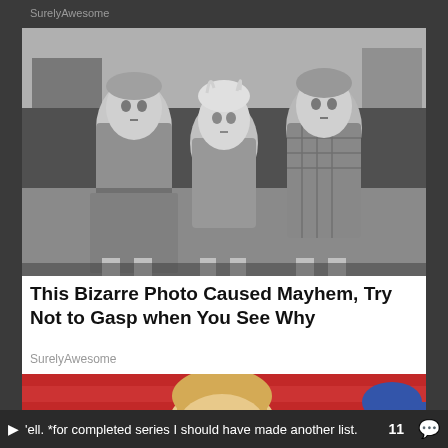SurelyAwesome
[Figure (photo): Black and white historical photograph of three young girls in worn, dirty clothing standing together and looking directly at the camera. They appear to be from a poor background, early 20th century era.]
This Bizarre Photo Caused Mayhem, Try Not to Gasp when You See Why
SurelyAwesome
[Figure (photo): Partial color photograph showing a person with blonde hair, partially visible, with red stadium seats visible in background.]
'ell. *for completed series I should have made another list.  11